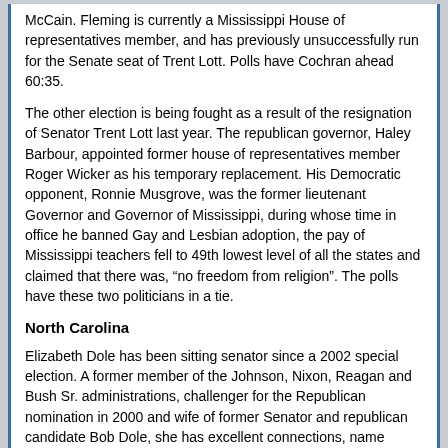McCain. Fleming is currently a Mississippi House of representatives member, and has previously unsuccessfully run for the Senate seat of Trent Lott. Polls have Cochran ahead 60:35.
The other election is being fought as a result of the resignation of Senator Trent Lott last year. The republican governor, Haley Barbour, appointed former house of representatives member Roger Wicker as his temporary replacement. His Democratic opponent, Ronnie Musgrove, was the former lieutenant Governor and Governor of Mississippi, during whose time in office he banned Gay and Lesbian adoption, the pay of Mississippi teachers fell to 49th lowest level of all the states and claimed that there was, “no freedom from religion”. The polls have these two politicians in a tie.
North Carolina
Elizabeth Dole has been sitting senator since a 2002 special election. A former member of the Johnson, Nixon, Reagan and Bush Sr. administrations, challenger for the Republican nomination in 2000 and wife of former Senator and republican candidate Bob Dole, she has excellent connections, name recognition and fundraising potential. Her opponent – Kay Hagan is a Lawyer and member of the State Senate. Dole is currently enjoying a 10 point lead in the polls.
Nebraska
Centrist Republican incumbent and opponent of the Iraq war, Chuck Hagel, has decided not to seek reelection. In a fascinating piece of trivia,